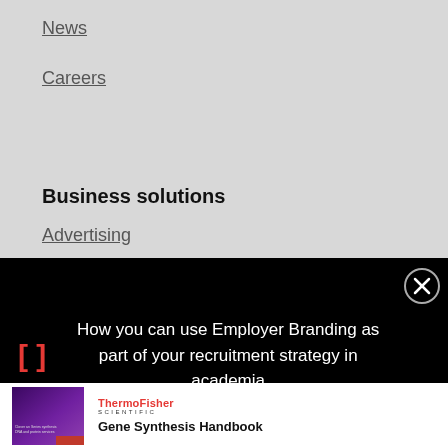News
Careers
Business solutions
Advertising
[Figure (screenshot): Black popup banner with red bracket icon and text: How you can use Employer Branding as part of your recruitment strategy in academia, with a close (X) button]
[Figure (infographic): Thermo Fisher Scientific Gene Synthesis Handbook advertisement with purple cover image showing scientists]